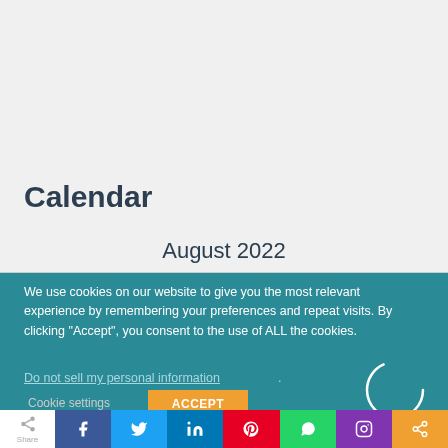Calendar
August 2022
We use cookies on our website to give you the most relevant experience by remembering your preferences and repeat visits. By clicking “Accept”, you consent to the use of ALL the cookies.
Do not sell my personal information.
Cookie settings
ACCEPT
[Figure (infographic): Social sharing bar with Facebook, Twitter, LinkedIn, Pinterest, WhatsApp, Instagram, and share buttons]